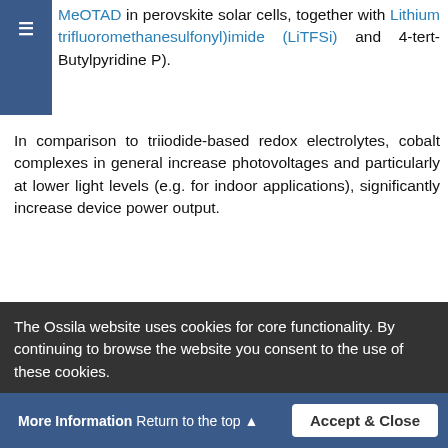MeOTAD in perovskite solar cells, together with Lithium trifluoromethanesulfonyl)imide (LiTFSi) and 4-tert-Butylpyridine P).
In comparison to triiodide-based redox electrolytes, cobalt complexes in general increase photovoltages and particularly at lower light levels (e.g. for indoor applications), significantly increase device power output.
General Information
|  |  |
| --- | --- |
| Full name | Tris(2-(1H-pyrazol-1-yl)pyridine)cobalt(III) tri[bis(trifluoromethane)sulfonimide |
| Synonyms | FK102 |
| Chemical | C30H21CoN12O12S6F18 |
The Ossila website uses cookies for core functionality. By continuing to browse the website you consent to the use of these cookies.
More Information   Return to the top   Accept & Close